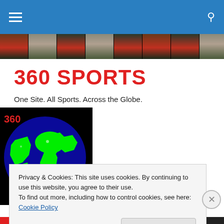360 Sports website header navigation bar
[Figure (photo): A horizontal photo strip showing repeated images of a golfer or sports person wearing a red shirt and cap, shown across the full width of the page]
360 SPORTS
One Site. All Sports. Across the Globe.
[Figure (illustration): A globe illustration on a black background showing the Earth with bright green landmasses and deep blue oceans, with '360' text in red visible in the upper left corner]
Privacy & Cookies: This site uses cookies. By continuing to use this website, you agree to their use.
To find out more, including how to control cookies, see here: Cookie Policy

Close and accept